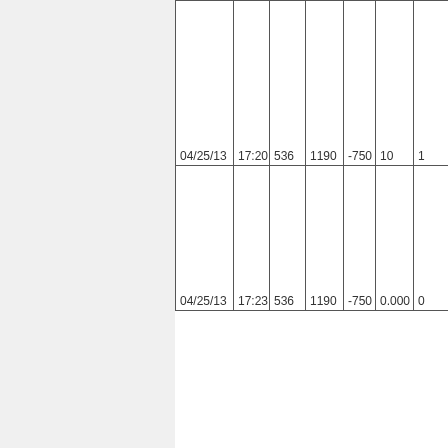| Date | Time | Col3 | Col4 | Col5 | Col6 | Col7 |
| --- | --- | --- | --- | --- | --- | --- |
| 04/25/13 | 17:20 | 536 | 1190 | -750 | 10 | 1 |
| 04/25/13 | 17:23 | 536 | 1190 | -750 | 0.000 | 0 |